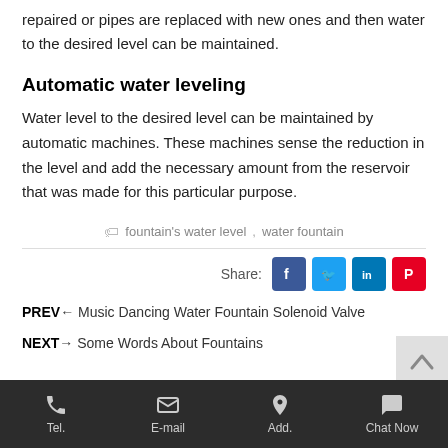repaired or pipes are replaced with new ones and then water to the desired level can be maintained.
Automatic water leveling
Water level to the desired level can be maintained by automatic machines. These machines sense the reduction in the level and add the necessary amount from the reservoir that was made for this particular purpose.
fountain's water level ,  water fountain
Share: [Facebook] [Twitter] [LinkedIn] [Pinterest]
PREV← Music Dancing Water Fountain Solenoid Valve
NEXT→ Some Words About Fountains
Tel.   E-mail   Add.   Chat Now